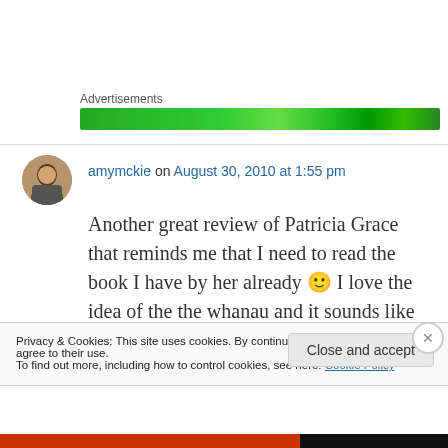Advertisements
[Figure (other): Green advertisement banner]
amymckie on August 30, 2010 at 1:55 pm
Another great review of Patricia Grace that reminds me that I need to read the book I have by her already 🙂 I love the idea of the the whanau and it sounds like an interesting focus
Privacy & Cookies: This site uses cookies. By continuing to use this website, you agree to their use.
To find out more, including how to control cookies, see here: Cookie Policy